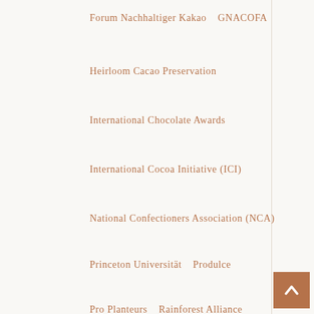Forum Nachhaltiger Kakao    GNACOFA
Heirloom Cacao Preservation
International Chocolate Awards
International Cocoa Initiative (ICI)
National Confectioners Association (NCA)
Princeton Universität    Produlce
Pro Planteurs    Rainforest Alliance
Route du Chocolat
Schweizerische Stiftung der Kakao- und Schokoladewirtschaft
Choc…